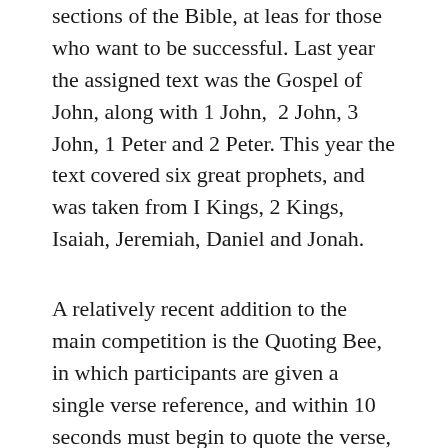sections of the Bible, at leas for those who want to be successful. Last year the assigned text was the Gospel of John, along with 1 John, 2 John, 3 John, 1 Peter and 2 Peter. This year the text covered six great prophets, and was taken from I Kings, 2 Kings, Isaiah, Jeremiah, Daniel and Jonah.
A relatively recent addition to the main competition is the Quoting Bee, in which participants are given a single verse reference, and within 10 seconds must begin to quote the verse, starting at the first word and ending exactly at the last word.
It's hard enough to memorize an extended